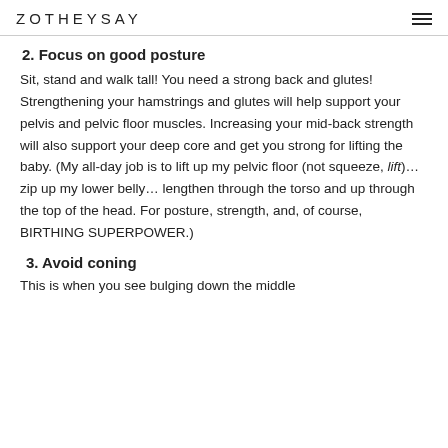ZOTHEYSAY
2. Focus on good posture
Sit, stand and walk tall! You need a strong back and glutes! Strengthening your hamstrings and glutes will help support your pelvis and pelvic floor muscles. Increasing your mid-back strength will also support your deep core and get you strong for lifting the baby. (My all-day job is to lift up my pelvic floor (not squeeze, lift)… zip up my lower belly… lengthen through the torso and up through the top of the head. For posture, strength, and, of course, BIRTHING SUPERPOWER.)
3. Avoid coning
This is when you see bulging down the middle